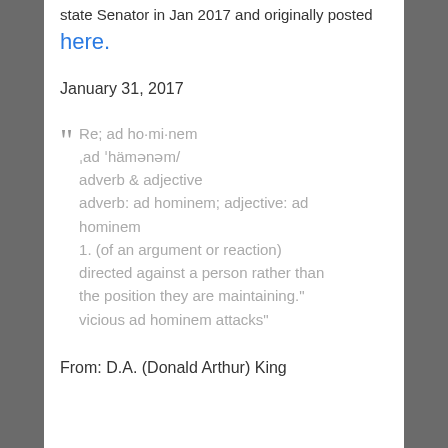state Senator in Jan 2017 and originally posted here.
January 31, 2017
" Re; ad ho·mi·nem ,ad 'hämənəm/ adverb & adjective adverb: ad hominem; adjective: ad hominem 1. (of an argument or reaction) directed against a person rather than the position they are maintaining." vicious ad hominem attacks"
From: D.A. (Donald Arthur) King